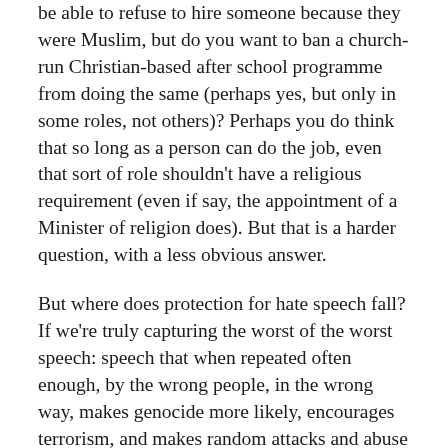be able to refuse to hire someone because they were Muslim, but do you want to ban a church-run Christian-based after school programme from doing the same (perhaps yes, but only in some roles, not others)? Perhaps you do think that so long as a person can do the job, even that sort of role shouldn't have a religious requirement (even if say, the appointment of a Minister of religion does). But that is a harder question, with a less obvious answer.
But where does protection for hate speech fall? If we're truly capturing the worst of the worst speech: speech that when repeated often enough, by the wrong people, in the wrong way, makes genocide more likely, encourages terrorism, and makes random attacks and abuse more likely, then surely this is one of the easier questions?
The...